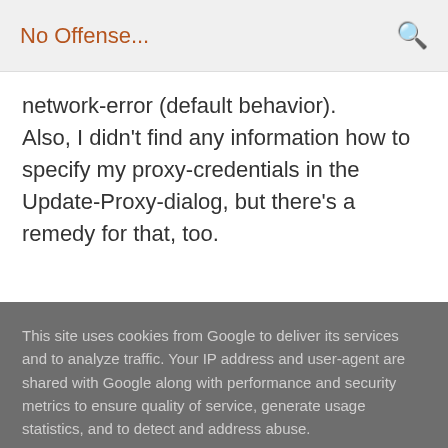No Offense...
network-error (default behavior). Also, I didn't find any information how to specify my proxy-credentials in the Update-Proxy-dialog, but there's a remedy for that, too.
This site uses cookies from Google to deliver its services and to analyze traffic. Your IP address and user-agent are shared with Google along with performance and security metrics to ensure quality of service, generate usage statistics, and to detect and address abuse.
LEARN MORE   OK